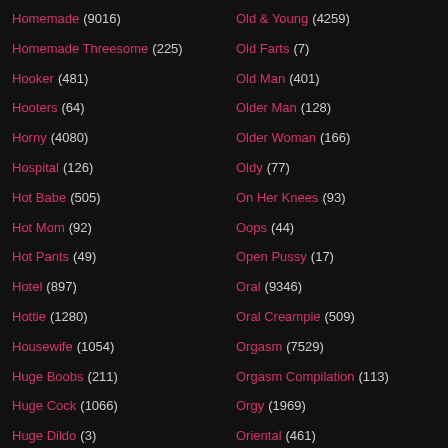Homemade (9016)
Homemade Threesome (225)
Hooker (481)
Hooters (64)
Horny (4080)
Hospital (126)
Hot Babe (505)
Hot Mom (92)
Hot Pants (49)
Hotel (897)
Hottie (1280)
Housewife (1054)
Huge Boobs (211)
Huge Cock (1066)
Huge Dildo (3)
Humiliation (1115)
Old & Young (4259)
Old Farts (7)
Old Man (401)
Older Man (128)
Older Woman (166)
Oldy (77)
On Her Knees (93)
Oops (44)
Open Pussy (17)
Oral (9346)
Oral Creampie (509)
Orgasm (7529)
Orgasm Compilation (113)
Orgy (1969)
Oriental (461)
Outdoor (6142)